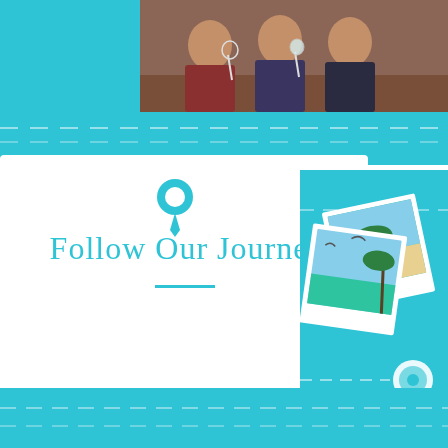[Figure (photo): Top teal banner with two photos: left photo shows three women holding wine glasses at a bar/restaurant, right photo shows people kayaking on green water]
[Figure (illustration): Location pin icon in teal color, centered above the title text]
Follow Our Journey
[Figure (illustration): Right side teal panel with polaroid-style travel photos showing beach/palm tree scene and seagulls, plus a timeline circle element and dashed path lines]